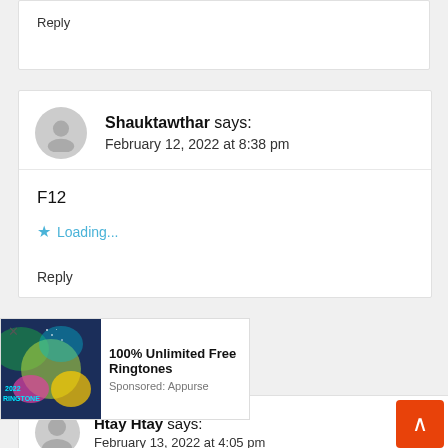Reply
Shauktawthar says:
February 12, 2022 at 8:38 pm
F12
Loading...
Reply
[Figure (infographic): Advertisement overlay: colorful ringtone app image with text '2022 RINGTONE', ad title '100% Unlimited Free Ringtones', sponsored by Appurse]
Htay Htay says:
February 13, 2022 at 4:05 pm